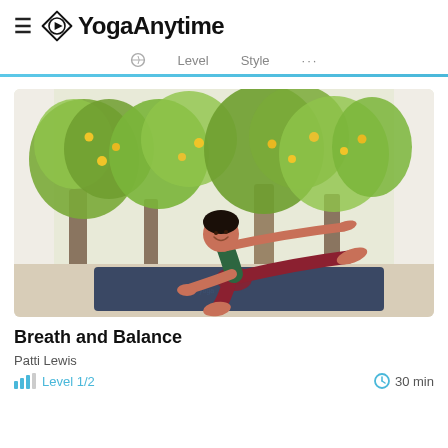YogaAnytime — Level   Style   ...
[Figure (photo): A woman performing a yoga pose (bird-dog / balance pose) on a dark navy yoga mat indoors, wearing dark red leggings and a green top, with trees visible through large windows in the background.]
Breath and Balance
Patti Lewis
Level 1/2   30 min